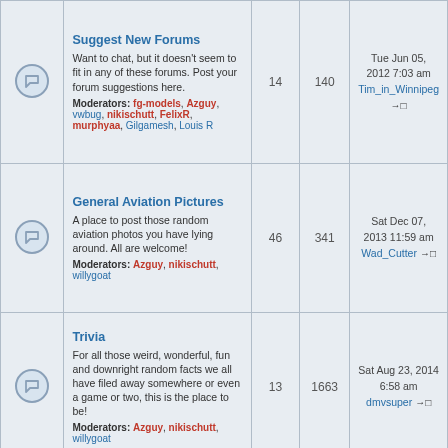|  | Forum | Topics | Posts | Last Post |
| --- | --- | --- | --- | --- |
| [icon] | Suggest New Forums
Want to chat, but it doesn't seem to fit in any of these forums. Post your forum suggestions here.
Moderators: fg-models, Azguy, vwbug, nikischutt, FelixR, murphyaa, Gilgamesh, Louis R | 14 | 140 | Tue Jun 05, 2012 7:03 am
Tim_in_Winnipeg |
| [icon] | General Aviation Pictures
A place to post those random aviation photos you have lying around. All are welcome!
Moderators: Azguy, nikischutt, willygoat | 46 | 341 | Sat Dec 07, 2013 11:59 am
Wad_Cutter |
| [icon] | Trivia
For all those weird, wonderful, fun and downright random facts we all have filed away somewhere or even a game or two, this is the place to be!
Moderators: Azguy, nikischutt, willygoat | 13 | 1663 | Sat Aug 23, 2014 6:58 am
dmvsuper |